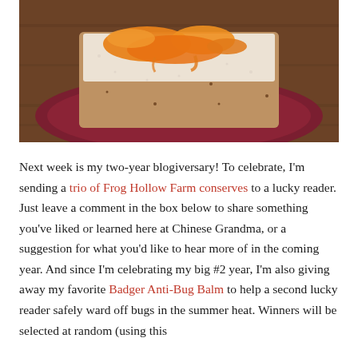[Figure (photo): Photo of a slice of seeded bread spread with cream cheese and orange jam/conserve, placed on a dark red/maroon plate atop a wooden table surface.]
Next week is my two-year blogiversary! To celebrate, I'm sending a trio of Frog Hollow Farm conserves to a lucky reader. Just leave a comment in the box below to share something you've liked or learned here at Chinese Grandma, or a suggestion for what you'd like to hear more of in the coming year. And since I'm celebrating my big #2 year, I'm also giving away my favorite Badger Anti-Bug Balm to help a second lucky reader safely ward off bugs in the summer heat. Winners will be selected at random (using this